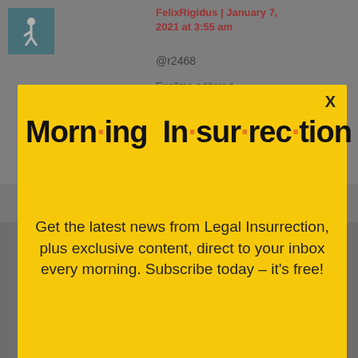FelixRigidus | January 7, 2021 at 3:55 am
@r2468
[Figure (screenshot): Morning Insurrection newsletter signup modal popup over a webpage background. Yellow modal with large bold title 'Morn·ing In·sur·rec·tion' with orange dots, subtitle text 'Get the latest news from Legal Insurrection, plus exclusive content, direct to your inbox every morning. Subscribe today – it's free!', and an orange JOIN NOW button. Below the modal is a Fiverr advertisement bar with Start Now button.]
"Security Finds Pipe Bombs At RNC